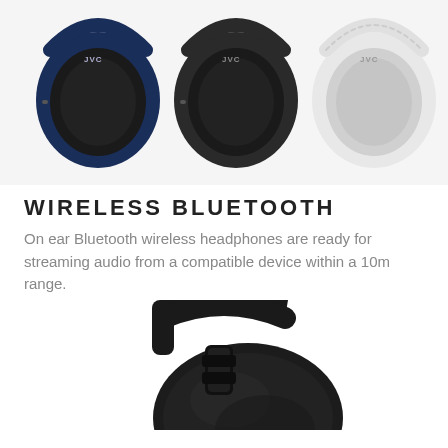[Figure (photo): Three JVC on-ear Bluetooth headphones in blue, black, and white colors shown from above, side by side]
WIRELESS BLUETOOTH
On ear Bluetooth wireless headphones are ready for streaming audio from a compatible device within a 10m range.
[Figure (photo): Close-up detail of a black JVC on-ear Bluetooth headphone showing the ear cup, headband, and leather cushioning]